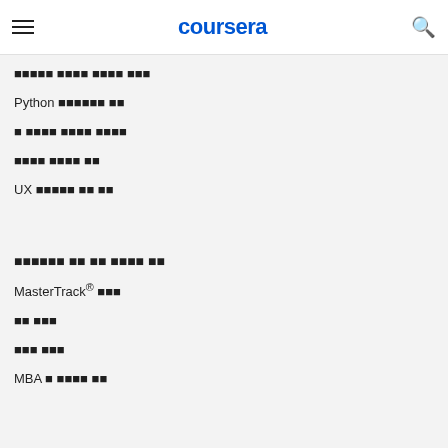coursera
데이터 과학 무료 강좌
Python 프로그래밍 강좌
웹 개발자 온라인 강좌 무료
영어로 강좌를 들어
UX 디자인 무료 온라인 강좌
학위증서 및 자격 취득에 대해 알아
MasterTrack® 자격증
온라인 학위
전문 자격증
MBA 및 비즈니스 학위